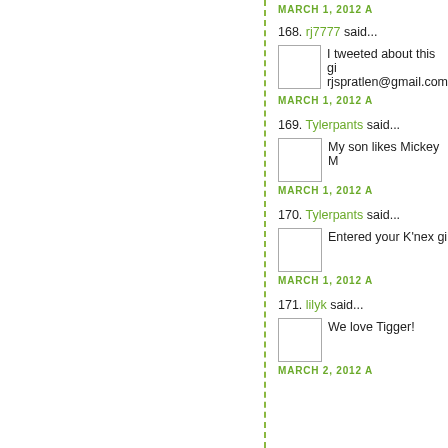MARCH 1, 2012 A
168. rj7777 said...
I tweeted about this gi rjspratlen@gmail.com
MARCH 1, 2012 A
169. Tylerpants said...
My son likes Mickey M
MARCH 1, 2012 A
170. Tylerpants said...
Entered your K'nex gi
MARCH 1, 2012 A
171. lilyk said...
We love Tigger!
MARCH 2, 2012 A